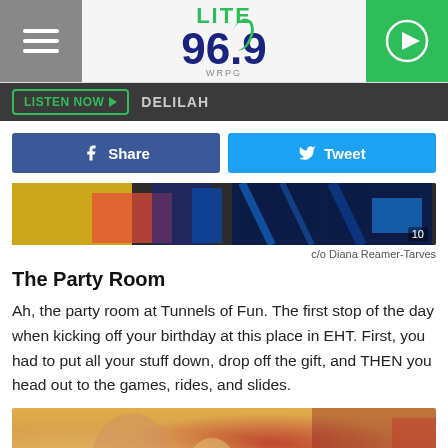LITE 96.9 WRPG
LISTEN NOW ▶  DELILAH
Share  Tweet
[Figure (photo): Photo of the party room at Tunnels of Fun, showing colorful indoor play equipment with blue and red structures, slide visible in background. Counter shows '10'.]
c/o Diana Reamer-Tarves
The Party Room
Ah, the party room at Tunnels of Fun. The first stop of the day when kicking off your birthday at this place in EHT. First, you had to put all your stuff down, drop off the gift, and THEN you head out to the games, rides, and slides.
[Figure (photo): Photo of people in a party room with colorful decorations, showing a man and children, with red and yellow elements visible in the background.]